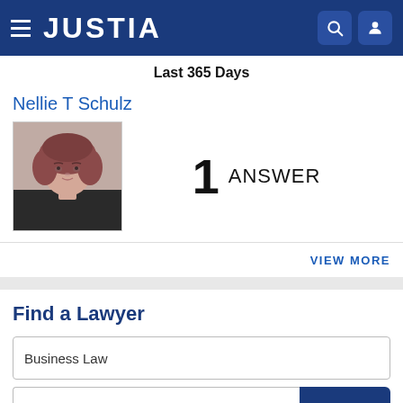JUSTIA
Last 365 Days
Nellie T Schulz
[Figure (photo): Headshot photo of Nellie T Schulz, a woman with shoulder-length hair wearing a dark top]
1 ANSWER
VIEW MORE
Find a Lawyer
Business Law
Pennsylvania
Search